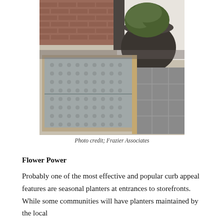[Figure (photo): Outdoor sidewalk/pavement area showing tactile paving (detectable warning surface) with raised dome pattern in gray metal, surrounded by brick and stone pavers, with a large dark planter pot containing a green shrub in the upper right corner.]
Photo credit; Frazier Associates
Flower Power
Probably one of the most effective and popular curb appeal features are seasonal planters at entrances to storefronts. While some communities will have planters maintained by the local